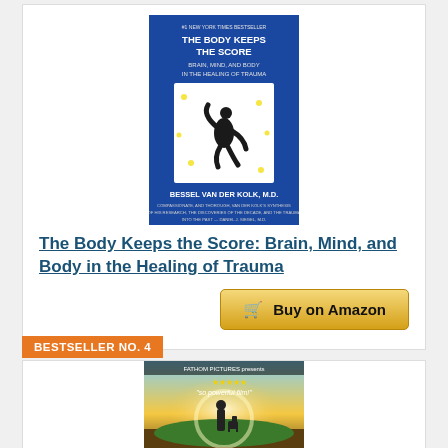[Figure (photo): Book cover of 'The Body Keeps the Score: Brain, Mind, and Body in the Healing of Trauma' by Bessel van der Kolk, M.D. Blue background with a dancing figure silhouette and stars.]
The Body Keeps the Score: Brain, Mind, and Body in the Healing of Trauma
Buy on Amazon
BESTSELLER NO. 4
[Figure (photo): Movie/film cover from Fathom Pictures showing a person standing with a dog in a glowing landscape, with text 'so powerful film!' and 5-star rating.]